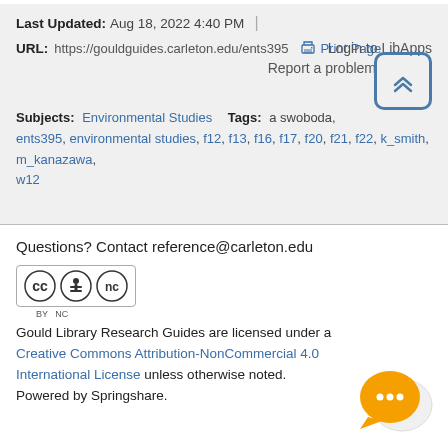Last Updated: Aug 18, 2022 4:40 PM
URL: https://gouldguides.carleton.edu/ents395 | Print Page
Login to LibApps
Report a problem
Subjects: Environmental Studies  Tags: a swoboda, ents395, environmental studies, f12, f13, f16, f17, f20, f21, f22, k_smith, m_kanazawa, w12
Questions? Contact reference@carleton.edu
[Figure (logo): Creative Commons BY NC license badge]
Gould Library Research Guides are licensed under a Creative Commons Attribution-NonCommercial 4.0 International License unless otherwise noted. Powered by Springshare.
[Figure (illustration): Chat bubble icon with ellipsis, orange and white speech bubbles]